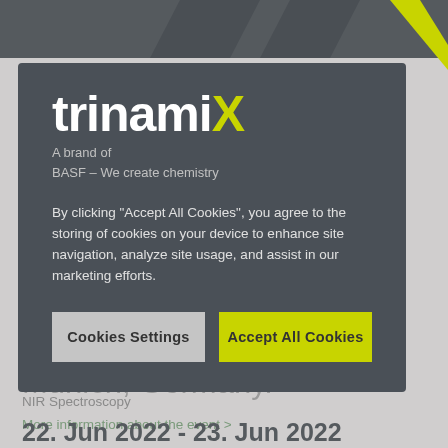[Figure (screenshot): trinamiX brand logo with cookie consent modal dialog overlay on a website. The modal has a dark gray background with the trinamiX logo at top, 'A brand of BASF – We create chemistry' tagline, cookie consent text, and two buttons: 'Cookies Settings' and 'Accept All Cookies'. Behind the modal, partially visible page text reads 'and biotechnology held in Munich, Germany.' with 'NIR Spectroscopy', 'More information about the event >' link, and '22. Jun 2022 - 23. Jun 2022'.]